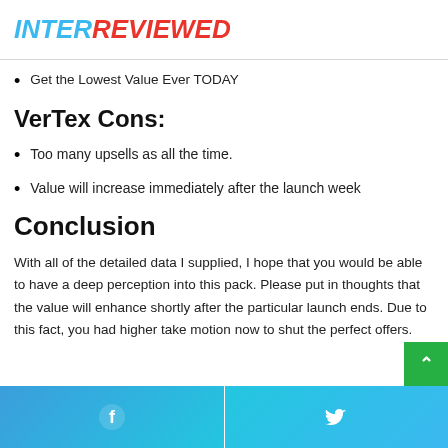INTERREVIEWED
Get the Lowest Value Ever TODAY
VerTex Cons:
Too many upsells as all the time.
Value will increase immediately after the launch week
Conclusion
With all of the detailed data I supplied, I hope that you would be able to have a deep perception into this pack. Please put in thoughts that the value will enhance shortly after the particular launch ends. Due to this fact, you had higher take motion now to shut the perfect offers.
Facebook Twitter